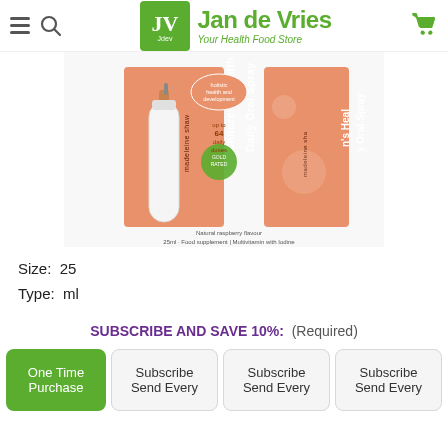Jan de Vries - Your Health Food Store
[Figure (photo): Product photo of Madeleine Shaw Children's Health Daily Oral Spray, 25ml, natural raspberry flavour, multivitamin with iodine. Shows two views of the orange product box with spray bottle.]
Size: 25
Type: ml
SUBSCRIBE AND SAVE 10%: (Required)
One Time Purchase
Subscribe Send Every
Subscribe Send Every
Subscribe Send Every